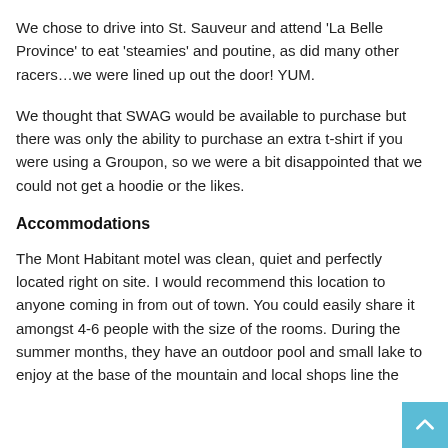We chose to drive into St. Sauveur and attend ‘La Belle Province’ to eat ‘steamies’ and poutine, as did many other racers…we were lined up out the door! YUM.
We thought that SWAG would be available to purchase but there was only the ability to purchase an extra t-shirt if you were using a Groupon, so we were a bit disappointed that we could not get a hoodie or the likes.
Accommodations
The Mont Habitant motel was clean, quiet and perfectly located right on site. I would recommend this location to anyone coming in from out of town. You could easily share it amongst 4-6 people with the size of the rooms. During the summer months, they have an outdoor pool and small lake to enjoy at the base of the mountain and local shops line the